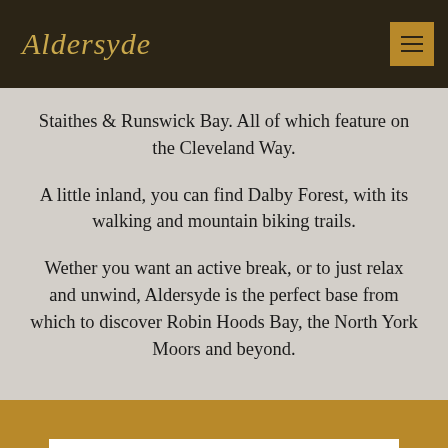Aldersyde
Staithes & Runswick Bay. All of which feature on the Cleveland Way.
A little inland, you can find Dalby Forest, with its walking and mountain biking trails.
Wether you want an active break, or to just relax and unwind, Aldersyde is the perfect base from which to discover Robin Hoods Bay, the North York Moors and beyond.